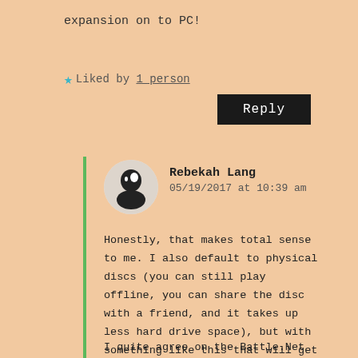expansion on to PC!
★ Liked by 1 person
Reply
Rebekah Lang
05/19/2017 at 10:39 am
Honestly, that makes total sense to me. I also default to physical discs (you can still play offline, you can share the disc with a friend, and it takes up less hard drive space), but with something like this that will get played so often (like you said), it does make sense.
I quite agree on the Battle.Net